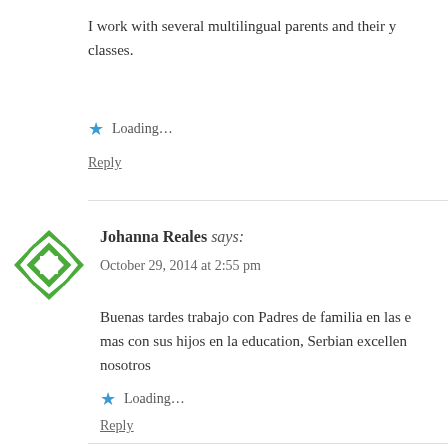I work with several multilingual parents and their y... classes.
Loading...
Reply
Johanna Reales says:
October 29, 2014 at 2:55 pm
Buenas tardes trabajo con Padres de familia en las e... mas con sus hijos en la education, Serbian excellen... nosotros
Loading...
Reply